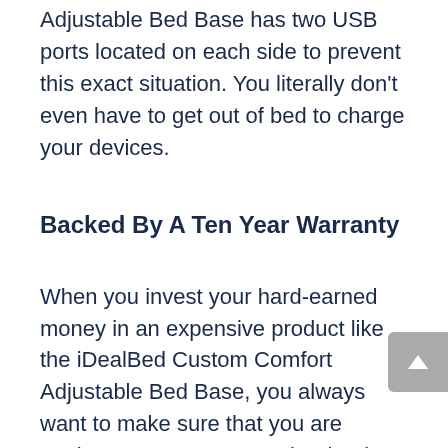Adjustable Bed Base has two USB ports located on each side to prevent this exact situation. You literally don't even have to get out of bed to charge your devices.
Backed By A Ten Year Warranty
When you invest your hard-earned money in an expensive product like the iDealBed Custom Comfort Adjustable Bed Base, you always want to make sure that you are getting your money's worth. Thanks to the amazing ten-year warranty, you can truly rest assured that you are really getting a great bargain. In the first ten years of owning this base bed, if you experience any problems or technical difficulties